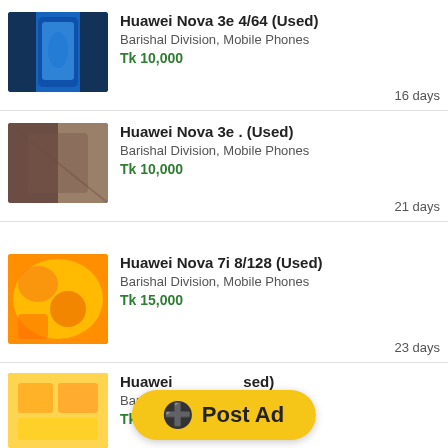Huawei Nova 3e 4/64 (Used)
Barishal Division, Mobile Phones
Tk 10,000
16 days
Huawei Nova 3e . (Used)
Barishal Division, Mobile Phones
Tk 10,000
21 days
Huawei Nova 7i 8/128 (Used)
Barishal Division, Mobile Phones
Tk 15,000
23 days
Huawei Nova ... (Used)
Barishal Division, Mobile Phones
Tk 15,000
[Figure (other): Post Ad button overlay in yellow/amber color]